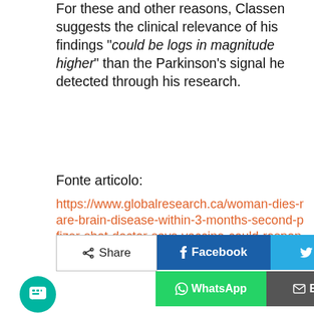For these and other reasons, Classen suggests the clinical relevance of his findings "could be logs in magnitude higher" than the Parkinson's signal he detected through his research.
Fonte articolo:
https://www.globalresearch.ca/woman-dies-rare-brain-disease-within-3-months-second-pfizer-shot-doctor-says-vaccine-could-responsible/5754610
[Figure (infographic): Views count box showing eye icon and 345, followed by social share buttons: Share, Facebook, Twitter, Telegram in first row; WhatsApp, E-mail, Viber, Print, scroll-to-top in second row; green chat bubble button bottom left.]